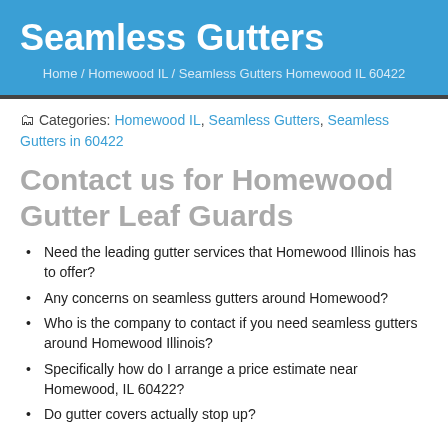Seamless Gutters
Home / Homewood IL / Seamless Gutters Homewood IL 60422
Categories: Homewood IL, Seamless Gutters, Seamless Gutters in 60422
Contact us for Homewood Gutter Leaf Guards
Need the leading gutter services that Homewood Illinois has to offer?
Any concerns on seamless gutters around Homewood?
Who is the company to contact if you need seamless gutters around Homewood Illinois?
Specifically how do I arrange a price estimate near Homewood, IL 60422?
Do gutter covers actually stop up?